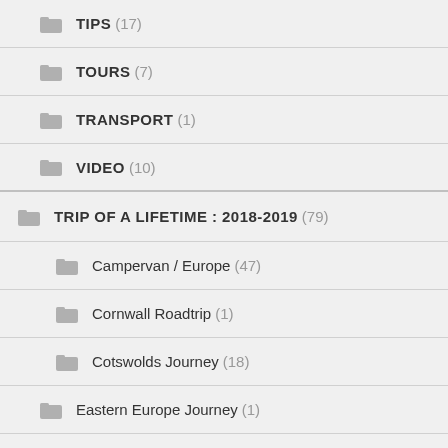TIPS (17)
TOURS (7)
TRANSPORT (1)
VIDEO (10)
TRIP OF A LIFETIME : 2018-2019 (79)
Campervan / Europe (47)
Cornwall Roadtrip (1)
Cotswolds Journey (18)
Eastern Europe Journey (1)
London Journey (10)